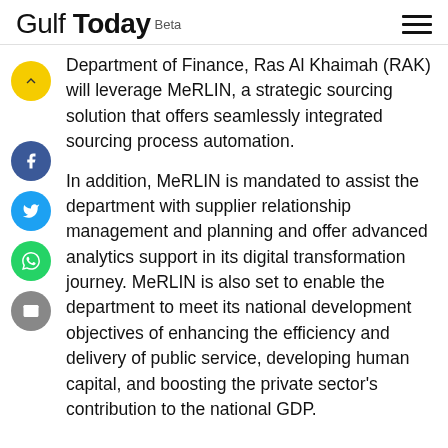Gulf Today Beta
Department of Finance, Ras Al Khaimah (RAK) will leverage MeRLIN, a strategic sourcing solution that offers seamlessly integrated sourcing process automation.
In addition, MeRLIN is mandated to assist the department with supplier relationship management and planning and offer advanced analytics support in its digital transformation journey. MeRLIN is also set to enable the department to meet its national development objectives of enhancing the efficiency and delivery of public service, developing human capital, and boosting the private sector’s contribution to the national GDP.